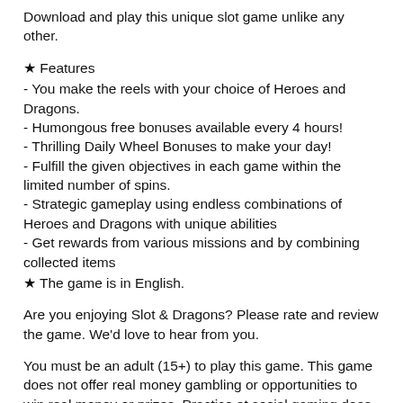Download and play this unique slot game unlike any other.
★ Features
- You make the reels with your choice of Heroes and Dragons.
- Humongous free bonuses available every 4 hours!
- Thrilling Daily Wheel Bonuses to make your day!
- Fulfill the given objectives in each game within the limited number of spins.
- Strategic gameplay using endless combinations of Heroes and Dragons with unique abilities
- Get rewards from various missions and by combining collected items
★ The game is in English.
Are you enjoying Slot & Dragons? Please rate and review the game. We'd love to hear from you.
You must be an adult (15+) to play this game. This game does not offer real money gambling or opportunities to win real money or prizes. Practice at social gaming does not indicate future